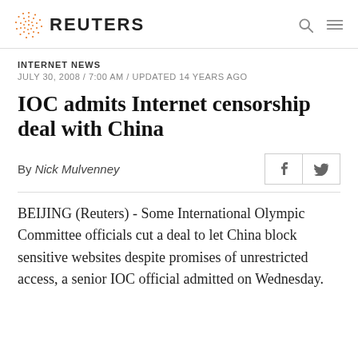REUTERS
INTERNET NEWS
JULY 30, 2008 / 7:00 AM / UPDATED 14 YEARS AGO
IOC admits Internet censorship deal with China
By Nick Mulvenney
BEIJING (Reuters) - Some International Olympic Committee officials cut a deal to let China block sensitive websites despite promises of unrestricted access, a senior IOC official admitted on Wednesday.